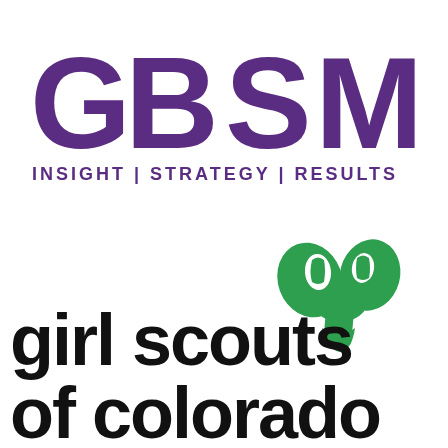[Figure (logo): GBSM logo with large purple letters G B S M and tagline INSIGHT | STRATEGY | RESULTS in purple]
[Figure (logo): Girl Scouts of Colorado logo with green trefoil/girl silhouette icon and bold black text reading 'girl scouts of colorado']